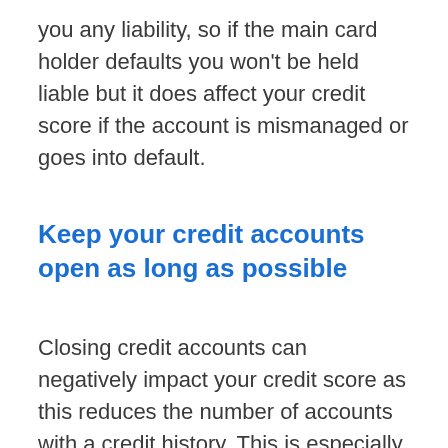you any liability, so if the main card holder defaults you won't be held liable but it does affect your credit score if the account is mismanaged or goes into default.
Keep your credit accounts open as long as possible
Closing credit accounts can negatively impact your credit score as this reduces the number of accounts with a credit history. This is especially worse if the credit